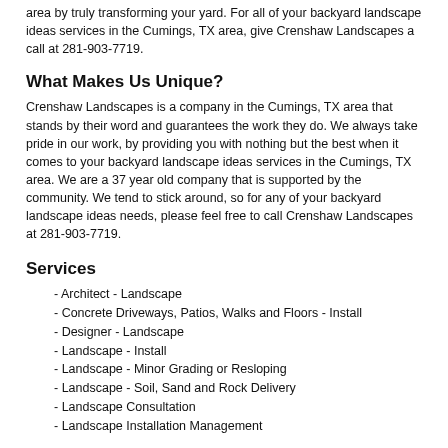area by truly transforming your yard. For all of your backyard landscape ideas services in the Cumings, TX area, give Crenshaw Landscapes a call at 281-903-7719.
What Makes Us Unique?
Crenshaw Landscapes is a company in the Cumings, TX area that stands by their word and guarantees the work they do. We always take pride in our work, by providing you with nothing but the best when it comes to your backyard landscape ideas services in the Cumings, TX area. We are a 37 year old company that is supported by the community. We tend to stick around, so for any of your backyard landscape ideas needs, please feel free to call Crenshaw Landscapes at 281-903-7719.
Services
- Architect - Landscape
- Concrete Driveways, Patios, Walks and Floors - Install
- Designer - Landscape
- Landscape - Install
- Landscape - Minor Grading or Resloping
- Landscape - Soil, Sand and Rock Delivery
- Landscape Consultation
- Landscape Installation Management